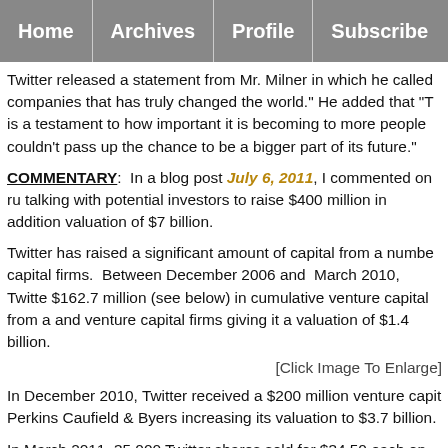Home | Archives | Profile | Subscribe
Twitter released a statement from Mr. Milner in which he called companies that has truly changed the world." He added that "T is a testament to how important it is becoming to more people couldn't pass up the chance to be a bigger part of its future."
COMMENTARY: In a blog post July 6, 2011, I commented on ru talking with potential investors to raise $400 million in addition valuation of $7 billion.
Twitter has raised a significant amount of capital from a numbe capital firms. Between December 2006 and March 2010, Twitte $162.7 million (see below) in cumulative venture capital from a and venture capital firms giving it a valuation of $1.4 billion.
[Click Image To Enlarge]
In December 2010, Twitter received a $200 million venture capit Perkins Caufield & Byers increasing its valuation to $3.7 billion.
In March 2011, 35,000 Twitter shares sold for $34.50 each on sec Sharespost, giving it implied valuation of $7.8 billion.
The latest $800 million in venture capital from Digital Sky Techn